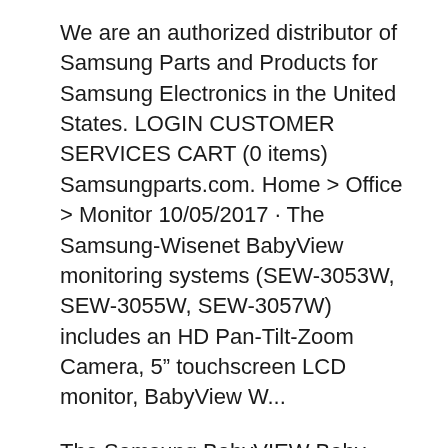We are an authorized distributor of Samsung Parts and Products for Samsung Electronics in the United States. LOGIN CUSTOMER SERVICES CART (0 items) Samsungparts.com. Home > Office > Monitor 10/05/2017 · The Samsung-Wisenet BabyView monitoring systems (SEW-3053W, SEW-3055W, SEW-3057W) includes an HD Pan-Tilt-Zoom Camera, 5" touchscreen LCD monitor, BabyView W...
The Samsung BabyVIEW Baby Monitoring System takes a little guesswork out of parenting infants and toddlers, with a large 3.5" LCD monitor screen that keeps you in close touch.